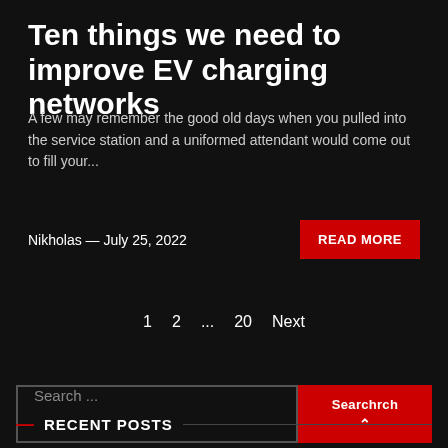Ten things we need to improve EV charging networks
A few may remember the good old days when you pulled into the service station and a uniformed attendant would come out to fill your...
Nikholas — July 25, 2022
READ MORE
1  2  ...  20  Next
Search ...
Search
RECENT POSTS